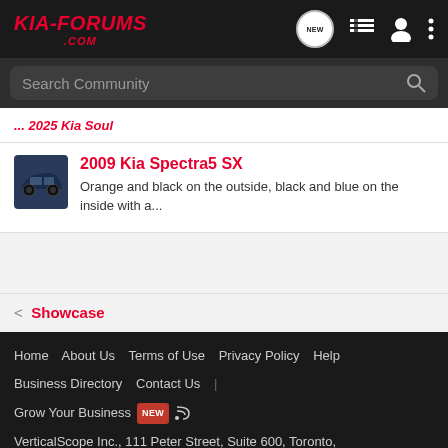KIA-FORUMS.COM
Search Community
... 2009 Kia Spectra5 SX Orange and black on the outside, black and blue on the inside with a...
2009 Kia Spectra5 SX — Orange and black on the outside, black and blue on the inside with a...
< Showcase
Home  About Us  Terms of Use  Privacy Policy  Help  Business Directory  Contact Us  |  Grow Your Business  NEW  RSS  VerticalScope Inc., 111 Peter Street, Suite 600, Toronto, Ontario, M5V 2H1, Canada